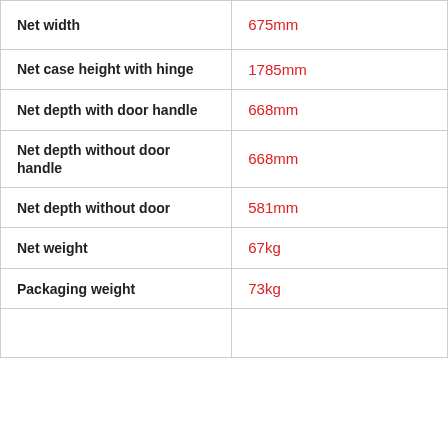| Property | Value |
| --- | --- |
| Net width | 675mm |
| Net case height with hinge | 1785mm |
| Net depth with door handle | 668mm |
| Net depth without door handle | 668mm |
| Net depth without door | 581mm |
| Net weight | 67kg |
| Packaging weight | 73kg |